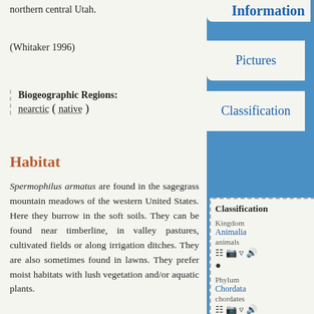northern central Utah.
(Whitaker 1996)
Biogeographic Regions: nearctic ( native )
Habitat
Spermophilus armatus are found in the sagegrass mountain meadows of the western United States. Here they burrow in the soft soils. They can be found near timberline, in valley pastures, cultivated fields or along irrigation ditches. They are also sometimes found in lawns. They prefer moist habitats with lush vegetation and/or aquatic plants.
Information
Pictures
Classification
| Classification |
| --- |
| Kingdom | Animalia | animals |
| Phylum | Chordata | chordates |
| Subphylum | Vertebrata | vertebrates |